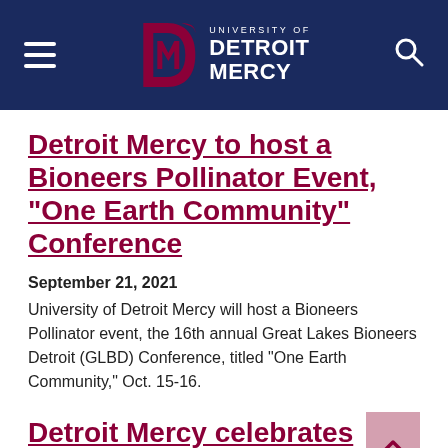[Figure (logo): University of Detroit Mercy navigation bar with hamburger menu, logo, and search icon on dark navy background]
Detroit Mercy to host a Bioneers Pollinator Event, “One Earth Community” Conference
September 21, 2021
University of Detroit Mercy will host a Bioneers Pollinator event, the 16th annual Great Lakes Bioneers Detroit (GLBD) Conference, titled “One Earth Community,” Oct. 15-16.
Detroit Mercy celebrates Founders Week, Sept. 20-27